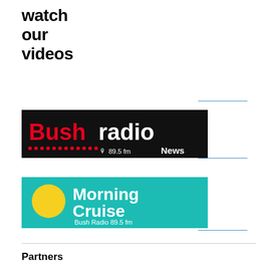watch our videos
[Figure (logo): Bush Radio 89.5 fm News logo — black background with red Bush text, white radio text, orange dots, small white text]
[Figure (logo): Morning Cruise Bush Radio 89.5 fm logo — teal/cyan background with yellow circle, white text Morning Cruise]
Partners
[Figure (logo): allAfrica logo with colorful swoosh/wave icon in blue, red, green, yellow and allAfrica text in blue/dark]
[Figure (logo): Cornerstone logo — grey text Cornerstone with red dot in the o, tagline Learn to change the world in red italic]
[Figure (logo): BBC NEWS logo — white BBC text and white NEWS text on red background with white horizontal line]